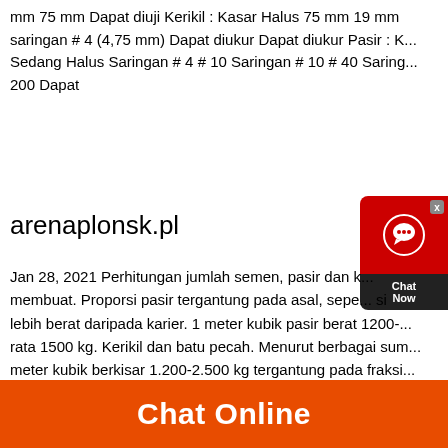mm 75 mm Dapat diuji Kerikil : Kasar Halus 75 mm 19 mm saringan # 4 (4,75 mm) Dapat diukur Dapat diukur Pasir : K... Sedang Halus Saringan # 4 # 10 Saringan # 10 # 40 Saring... 200 Dapat
arenaplonsk.pl
Jan 28, 2021 Perhitungan jumlah semen, pasir dan k... membuat. Proporsi pasir tergantung pada asal, sepe... si lebih berat daripada karier. 1 meter kubik pasir berat 1200-... rata 1500 kg. Kerikil dan batu pecah. Menurut berbagai sum... meter kubik berkisar 1.200-2.500 kg tergantung pada fraksi... Berat lebih dari
Kerikil dan Pasir
Chat Online